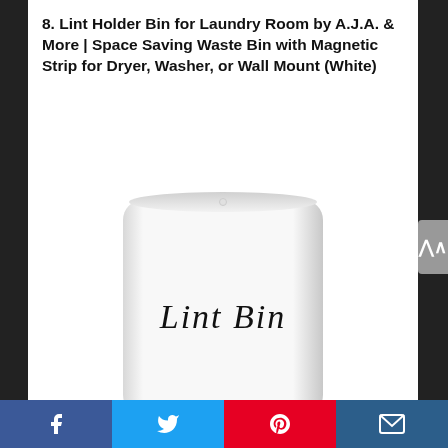8. Lint Holder Bin for Laundry Room by A.J.A. & More | Space Saving Waste Bin with Magnetic Strip for Dryer, Washer, or Wall Mount (White)
[Figure (photo): A white lint bin container with rounded top edges, showing 'Lint Bin' written in cursive script on the front face. The bin appears to be a wall-mountable storage container for laundry room lint.]
Social sharing bar: Facebook, Twitter, Pinterest, Email